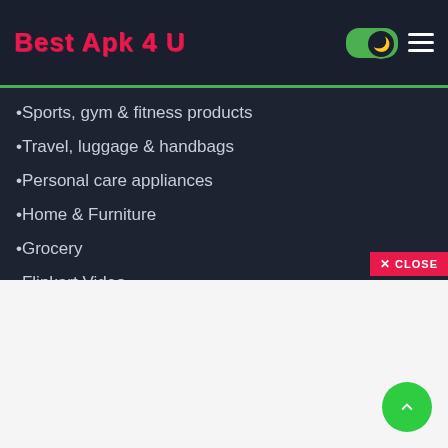Best Apk 4 U
Sports, gym & fitness products
Travel, luggage & handbags
Personal care appliances
Home & Furniture
Grocery
Flipkart Video
Flipkart Travel
Flipkart Shipping*
Install Flipkart app for unique benefits